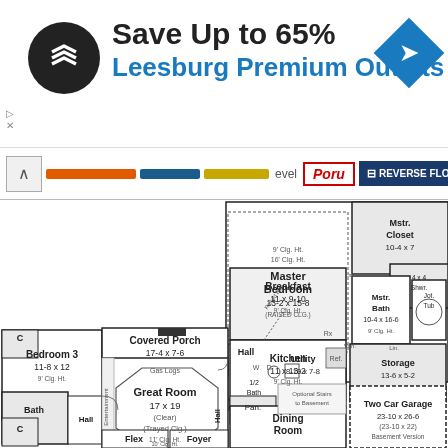[Figure (infographic): Advertisement banner for Leesburg Premium Outlets — black circular logo with navigation arrows, text 'Save Up to 65%' in dark gray bold, 'Leesburg Premium Outlets' in blue bold, blue diamond navigation icon on the right, close/dismiss controls on left.]
[Figure (screenshot): UI toolbar showing back arrow, colored progress bars (orange, blue, gold), 'Level' text, 'Poru' button in red italic, and 'REVERSE FLOOR PLAN' button in dark navy blue.]
[Figure (engineering-diagram): House floor plan showing: Master Bedroom 13-2 x 15-8 (RAISED CLG.) with 9' Clg. Ht. / 16' Clg. Ht., Mstr. Closet 10-4 x 7, 4x4 Shwr., Mstr. Bath 10-4 x 16-6, Jot. Tub, Storage 13-6 x 5-2, Utility 8-10 x 7-8, Half Bath, Hall, Covered Porch 17-4 x 7-6 (Gas Logs), Great Room 17 x 19 (Clear) (Trayed Clg.) with Entertainment wall, Breakfast 11 x 9-10 (9' Clg. Ht.), Kitchen 11 x 13-2 (9' Clg. Ht.), Pantry, Dining Room, Bedroom 3 11-8 x 12 (9' Clg. Ht.) with Closet and Bath, Hall, Flex, Foyer, Two Car Garage 23-10 x 26-6 (23-10 x 22) Basement Version, Optional Stairs to Basement, Raised Bar, Ref.]